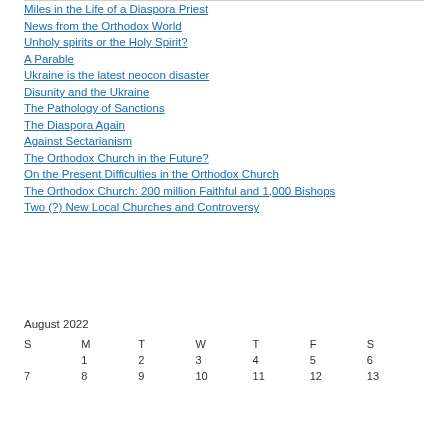Miles in the Life of a Diaspora Priest
News from the Orthodox World
Unholy spirits or the Holy Spirit?
A Parable
Ukraine is the latest neocon disaster
Disunity and the Ukraine
The Pathology of Sanctions
The Diaspora Again
Against Sectarianism
The Orthodox Church in the Future?
On the Present Difficulties in the Orthodox Church
The Orthodox Church: 200 million Faithful and 1,000 Bishops
Two (?) New Local Churches and Controversy
| S | M | T | W | T | F | S |
| --- | --- | --- | --- | --- | --- | --- |
|  | 1 | 2 | 3 | 4 | 5 | 6 |
| 7 | 8 | 9 | 10 | 11 | 12 | 13 |